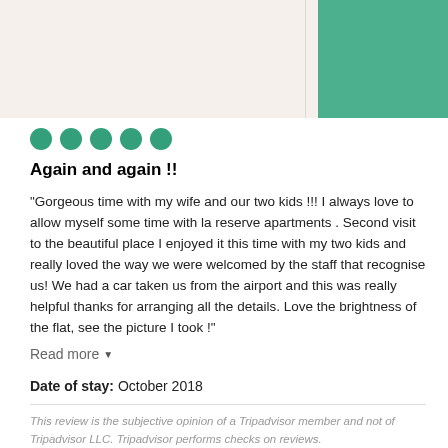[Figure (illustration): Header area with beige/cream background and a teal/green rectangle in the top right corner, with a vertical divider line]
[Figure (other): Five filled green circles representing a 5-dot rating]
Again and again !!
“Gorgeous time with my wife and our two kids !!! I always love to allow myself some time with la reserve apartments . Second visit to the beautiful place I enjoyed it this time with my two kids and really loved the way we were welcomed by the staff that recognise us! We had a car taken us from the airport and this was really helpful thanks for arranging all the details. Love the brightness of the flat, see the picture I took !”
Read more
Date of stay: October 2018
This review is the subjective opinion of a Tripadvisor member and not of Tripadvisor LLC. Tripadvisor performs checks on reviews.
Helpful